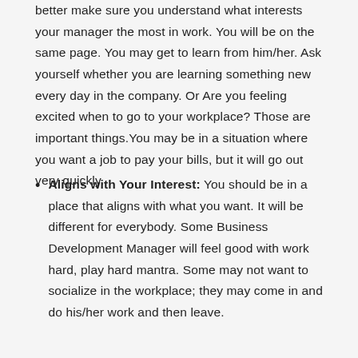better make sure you understand what interests your manager the most in work. You will be on the same page. You may get to learn from him/her. Ask yourself whether you are learning something new every day in the company. Or Are you feeling excited when to go to your workplace? Those are important things.You may be in a situation where you want a job to pay your bills, but it will go out very quickly.
Aligns with Your Interest: You should be in a place that aligns with what you want. It will be different for everybody. Some Business Development Manager will feel good with work hard, play hard mantra. Some may not want to socialize in the workplace; they may come in and do his/her work and then leave.